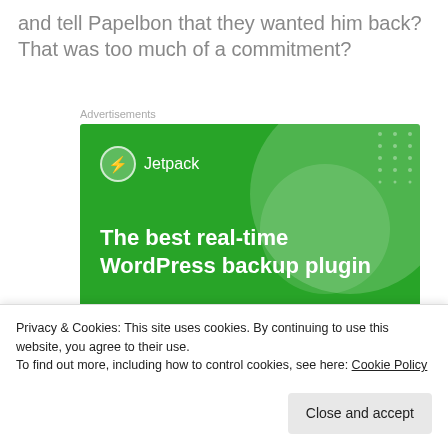and tell Papelbon that they wanted him back? That was too much of a commitment?
Advertisements
[Figure (screenshot): Jetpack advertisement banner showing green background with the text 'The best real-time WordPress backup plugin' and a 'Back up your site' button]
Privacy & Cookies: This site uses cookies. By continuing to use this website, you agree to their use. To find out more, including how to control cookies, see here: Cookie Policy
Close and accept